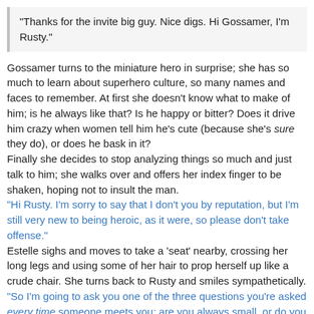"Thanks for the invite big guy. Nice digs. Hi Gossamer, I'm Rusty."
Gossamer turns to the miniature hero in surprise; she has so much to learn about superhero culture, so many names and faces to remember. At first she doesn't know what to make of him; is he always like that? Is he happy or bitter? Does it drive him crazy when women tell him he's cute (because she's sure they do), or does he bask in it?
Finally she decides to stop analyzing things so much and just talk to him; she walks over and offers her index finger to be shaken, hoping not to insult the man.
"Hi Rusty. I'm sorry to say that I don't you by reputation, but I'm still very new to being heroic, as it were, so please don't take offense."
Estelle sighs and moves to take a 'seat' nearby, crossing her long legs and using some of her hair to prop herself up like a crude chair. She turns back to Rusty and smiles sympathetically.
"So I'm going to ask you one of the three questions you're asked every time someone meets you; are you always small, or do you have control over it?"